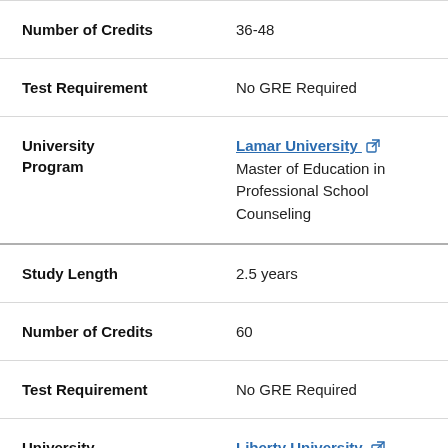| Field | Value |
| --- | --- |
| Number of Credits | 36-48 |
| Test Requirement | No GRE Required |
| University
Program | Lamar University
Master of Education in Professional School Counseling |
| Study Length | 2.5 years |
| Number of Credits | 60 |
| Test Requirement | No GRE Required |
| University
Program | Liberty University
Master of Education in School... |